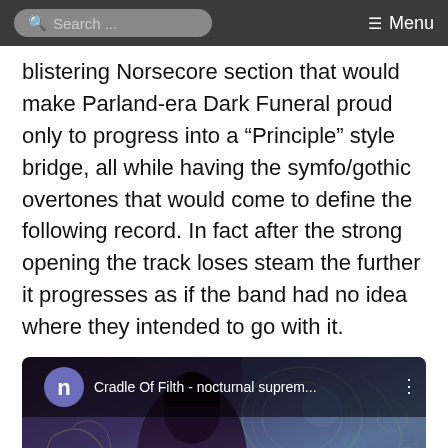Search ... Menu
blistering Norsecore section that would make Parland-era Dark Funeral proud only to progress into a “Principle” style bridge, all while having the symfo/gothic overtones that would come to define the following record. In fact after the strong opening the track loses steam the further it progresses as if the band had no idea where they intended to go with it.
[Figure (screenshot): Embedded YouTube-style video thumbnail showing 'Cradle Of Filth - nocturnal suprem...' with a purple circle avatar with letter n, and a dark gothic fantasy image background with a figure and ornate patterns.]